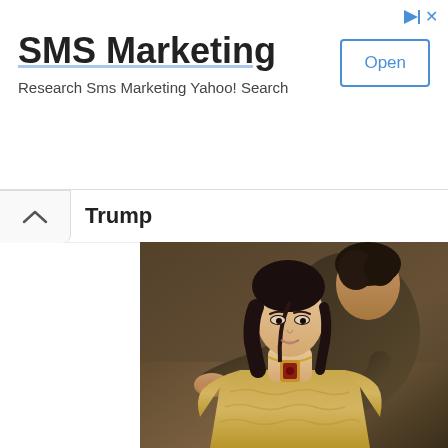SMS Marketing — Research Sms Marketing Yahoo! Search — Open
Trump
[Figure (photo): A young woman in a medieval gold brocade dress with a gold and red jeweled necklace pendant, sitting in front of a dark-haired man in dark leather medieval clothing who leans over her from behind, both in a dimly lit stone setting.]